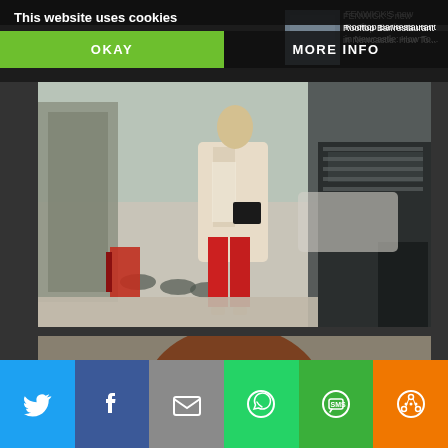[Figure (screenshot): Cookie consent overlay with 'This website uses cookies' message, OKAY button (green), and MORE INFO button (dark)]
[Figure (photo): Fashion photo: woman wearing red trousers, beige/cream long coat, holding black handbag, standing on a city street]
[Figure (photo): Fashion photo: close-up of woman with red lipstick, auburn hair, wearing cream coat, white collared shirt, and gold chain necklace]
FENWICK'S new Rooftop Bar/restaurant in Newcastle: How To...
[Figure (infographic): Social sharing bar with icons for Twitter, Facebook, Email, WhatsApp, SMS, and More options]